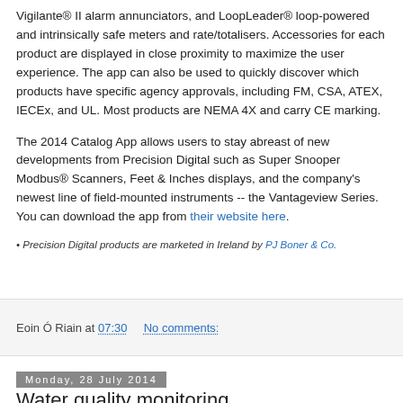Vigilante® II alarm annunciators, and LoopLeader® loop-powered and intrinsically safe meters and rate/totalisers. Accessories for each product are displayed in close proximity to maximize the user experience. The app can also be used to quickly discover which products have specific agency approvals, including FM, CSA, ATEX, IECEx, and UL. Most products are NEMA 4X and carry CE marking.
The 2014 Catalog App allows users to stay abreast of new developments from Precision Digital such as Super Snooper Modbus® Scanners, Feet & Inches displays, and the company's newest line of field-mounted instruments -- the Vantageview Series. You can download the app from their website here.
• Precision Digital products are marketed in Ireland by PJ Boner & Co.
Eoin Ó Riain at 07:30   No comments:
Monday, 28 July 2014
Water quality monitoring